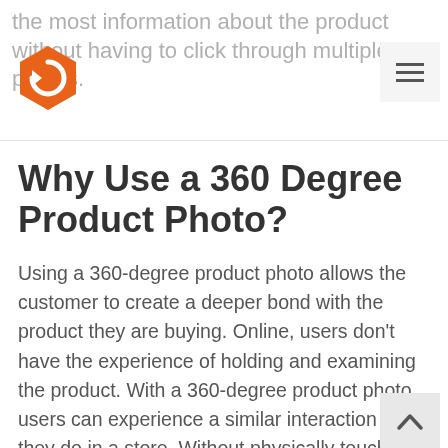the most information about the product without having to click through multiple photos.
[Figure (logo): Orange hexagon logo with a circular arrow icon inside]
[Figure (other): Hamburger menu icon (three horizontal lines) in a light grey square button]
Why Use a 360 Degree Product Photo?
Using a 360-degree product photo allows the customer to create a deeper bond with the product they are buying. Online, users don't have the experience of holding and examining the product. With a 360-degree product photo, users can experience a similar interaction as they do in a store. Without physically touching the product, they can still attain the same view of it. They also it becomes similar as examination to the f…